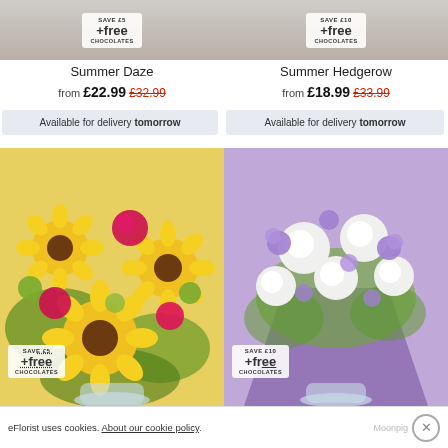[Figure (photo): Top banner showing two flower bouquet product images with +free chocolates badge overlay, cut off at top]
Summer Daze
Summer Hedgerow
from £22.99 £32.99
from £18.99 £33.99
Available for delivery tomorrow
Available for delivery tomorrow
[Figure (photo): Left: bright sunflower and pink rose bouquet with SAVE £5 +free chocolates badge. Right: white roses and purple freesia bouquet with SAVE £10 +free chocolates badge.]
eFlorist uses cookies. About our cookie policy.